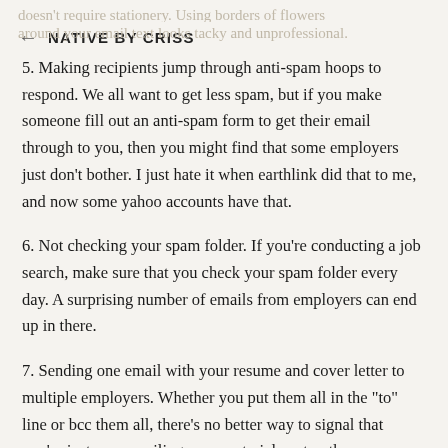← NATIVE BY CRISS
5. Making recipients jump through anti-spam hoops to respond. We all want to get less spam, but if you make someone fill out an anti-spam form to get their email through to you, then you might find that some employers just don't bother. I just hate it when earthlink did that to me, and now some yahoo accounts have that.
6. Not checking your spam folder. If you're conducting a job search, make sure that you check your spam folder every day. A surprising number of emails from employers can end up in there.
7. Sending one email with your resume and cover letter to multiple employers. Whether you put them all in the "to" line or bcc them all, there's no better way to signal that you're just mass-mailing your materials out, rather